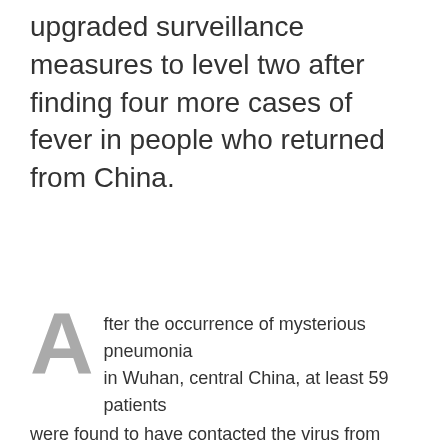upgraded surveillance measures to level two after finding four more cases of fever in people who returned from China.
After the occurrence of mysterious pneumonia in Wuhan, central China, at least 59 patients were found to have contacted the virus from